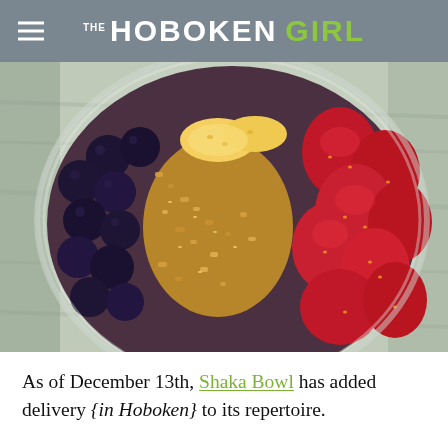THE HOBOKEN GIRL
[Figure (photo): Overhead close-up photo of an acai bowl in a clear plastic bowl, topped with blueberries on the left, sliced bananas at top center, granola in the middle, and sliced strawberries on the right, on a light wooden surface.]
As of December 13th, Shaka Bowl has added delivery {in Hoboken} to its repertoire.